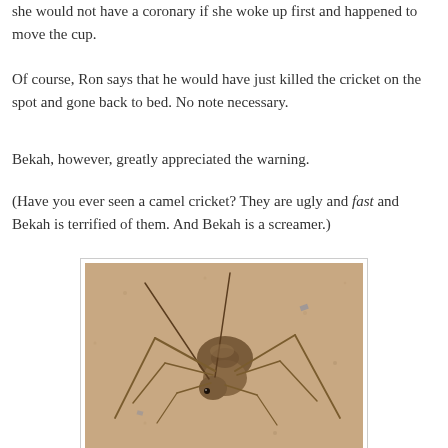she would not have a coronary if she woke up first and happened to move the cup.
Of course, Ron says that he would have just killed the cricket on the spot and gone back to bed. No note necessary.
Bekah, however, greatly appreciated the warning.
(Have you ever seen a camel cricket? They are ugly and fast and Bekah is terrified of them. And Bekah is a screamer.)
[Figure (photo): Close-up photo of a camel cricket (cave cricket) on sandy/concrete surface, showing long spindly legs and hump-backed body.]
Source